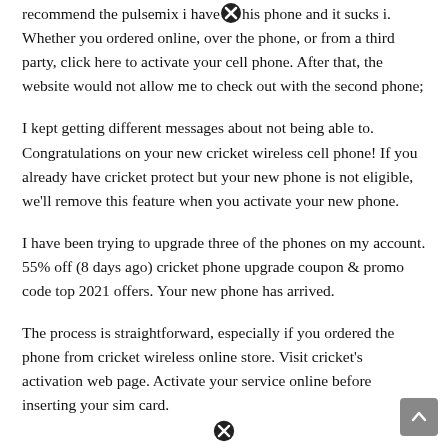recommend the pulsemix i have this phone and it sucks i. Whether you ordered online, over the phone, or from a third party, click here to activate your cell phone. After that, the website would not allow me to check out with the second phone;
I kept getting different messages about not being able to. Congratulations on your new cricket wireless cell phone! If you already have cricket protect but your new phone is not eligible, we'll remove this feature when you activate your new phone.
I have been trying to upgrade three of the phones on my account. 55% off (8 days ago) cricket phone upgrade coupon & promo code top 2021 offers. Your new phone has arrived.
The process is straightforward, especially if you ordered the phone from cricket wireless online store. Visit cricket's activation web page. Activate your service online before inserting your sim card.